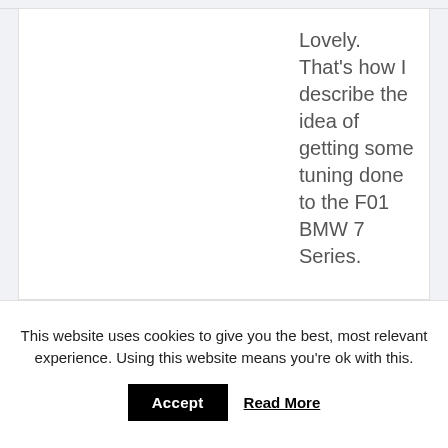Lovely. That's how I describe the idea of getting some tuning done to the F01 BMW 7 Series.
This website uses cookies to give you the best, most relevant experience. Using this website means you're ok with this.
Accept
Read More